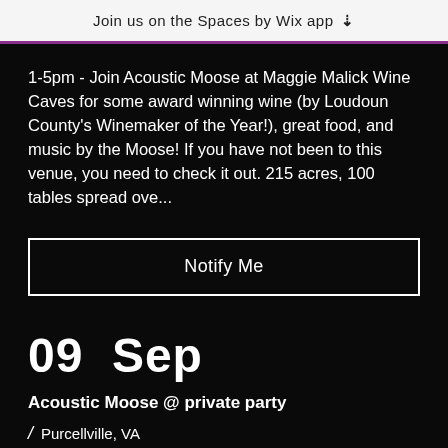Join us on the Spaces by Wix app ↓
1-5pm - Join Acoustic Moose at Maggie Malick Wine Caves for some award winning wine (by Loudoun County's Winemaker of the Year!), great food, and music by the Moose! If you have not been to this venue, you need to check it out. 215 acres, 100 tables spread ove...
Notify Me
09 Sep
Acoustic Moose @ private party
/ Purcellville, VA